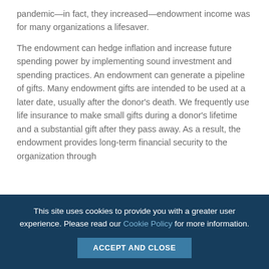pandemic—in fact, they increased—endowment income was for many organizations a lifesaver.
The endowment can hedge inflation and increase future spending power by implementing sound investment and spending practices. An endowment can generate a pipeline of gifts. Many endowment gifts are intended to be used at a later date, usually after the donor's death. We frequently use life insurance to make small gifts during a donor's lifetime and a substantial gift after they pass away. As a result, the endowment provides long-term financial security to the organization through
This site uses cookies to provide you with a greater user experience. Please read our Cookie Policy for more information.
ACCEPT AND CLOSE